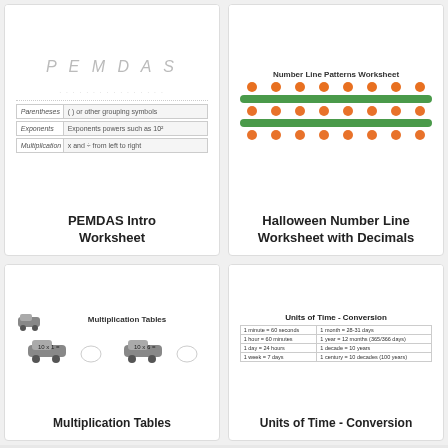[Figure (illustration): PEMDAS Intro Worksheet thumbnail showing a table with Parentheses, Exponents, Multiplication rows]
PEMDAS Intro Worksheet
[Figure (illustration): Halloween Number Line Worksheet with Decimals thumbnail showing pumpkin icons on number lines]
Halloween Number Line Worksheet with Decimals
[Figure (illustration): Multiplication Tables worksheet thumbnail showing car illustrations with equations]
Multiplication Tables
[Figure (illustration): Units of Time Conversion worksheet thumbnail showing conversion table]
Units of Time - Conversion
Be a hero! Share this page to help others get FREE resources!